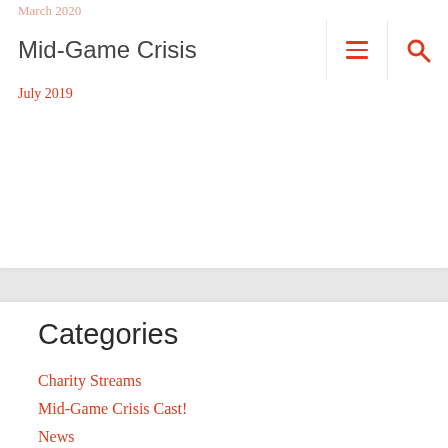March 2020
Mid-Game Crisis
July 2019
Categories
Charity Streams
Mid-Game Crisis Cast!
News
Reviews
Streaming
Top 5 / Top 10